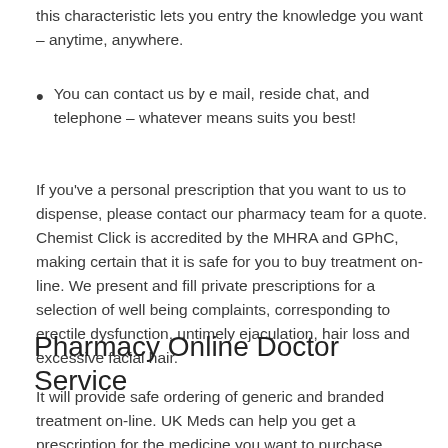this characteristic lets you entry the knowledge you want – anytime, anywhere.
You can contact us by e mail, reside chat, and telephone – whatever means suits you best!
If you've a personal prescription that you want to us to dispense, please contact our pharmacy team for a quote. Chemist Click is accredited by the MHRA and GPhC, making certain that it is safe for you to buy treatment on-line. We present and fill private prescriptions for a selection of well being complaints, corresponding to erectile dysfunction, untimely ejaculation, hair loss and excessive facial hair.
Pharmacy Online Doctor Service
It will provide safe ordering of generic and branded treatment on-line. UK Meds can help you get a prescription for the medicine you want to purchase.